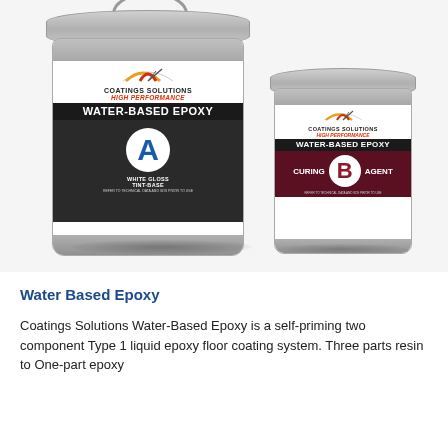[Figure (photo): Two cans of Coatings Solutions Water-Based Epoxy. Large can on left labeled Part A - White Gloss Tint-Base, smaller can on right labeled Part B - Curing Agent. Both cans have the Coatings Solutions logo with colorful arc and text HIGH PERFORMANCE WATER-BASED EPOXY.]
Water Based Epoxy
Coatings Solutions Water-Based Epoxy is a self-priming two component Type 1 liquid epoxy floor coating system. Three parts resin to One-part epoxy